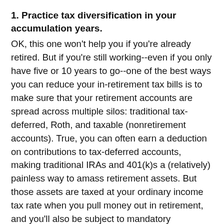1. Practice tax diversification in your accumulation years.
OK, this one won't help you if you're already retired. But if you're still working--even if you only have five or 10 years to go--one of the best ways you can reduce your in-retirement tax bills is to make sure that your retirement accounts are spread across multiple silos: traditional tax-deferred, Roth, and taxable (nonretirement accounts). True, you can often earn a deduction on contributions to tax-deferred accounts, making traditional IRAs and 401(k)s a (relatively) painless way to amass retirement assets. But those assets are taxed at your ordinary income tax rate when you pull money out in retirement, and you'll also be subject to mandatory distributions after age 70 1/2. By contrast, qualified Roth withdrawals will be tax-